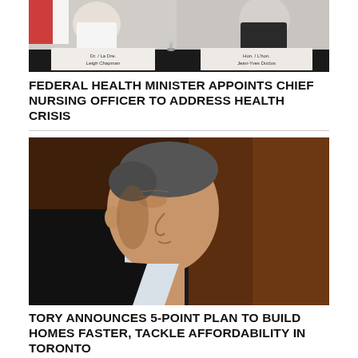[Figure (photo): Press conference scene with two people at a table; name placards visible reading 'Dr. / La Dre. Leigh Chapman' and 'Hon. / L'hon. Jean-Yves Duclos']
FEDERAL HEALTH MINISTER APPOINTS CHIEF NURSING OFFICER TO ADDRESS HEALTH CRISIS
[Figure (photo): Close-up side profile portrait of an older man in a dark suit, looking to the left, against a dark brown background]
TORY ANNOUNCES 5-POINT PLAN TO BUILD HOMES FASTER, TACKLE AFFORDABILITY IN TORONTO
[Figure (photo): Outdoor scene showing part of a white car and a person in dark clothing, partially visible]